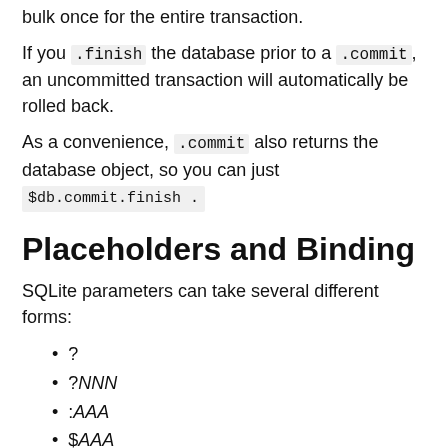bulk once for the entire transaction.
If you .finish the database prior to a .commit, an uncommitted transaction will automatically be rolled back.
As a convenience, .commit also returns the database object, so you can just $db.commit.finish .
Placeholders and Binding
SQLite parameters can take several different forms:
?
?NNN
:AAA
$AAA
@AAA
Where NNN is an integer value, and AAA is an identifier. When calling execute, the numbered binds are bound starting with 1 from the arguments to .execute (or .query):